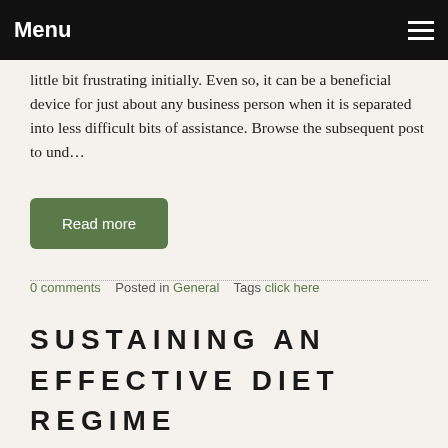Menu
little bit frustrating initially. Even so, it can be a beneficial device for just about any business person when it is separated into less difficult bits of assistance. Browse the subsequent post to und…
Read more
0 comments   Posted in General   Tags click here
SUSTAINING AN EFFECTIVE DIET REGIME AND EXCESS WEIGHT FOR YOUR KITTY